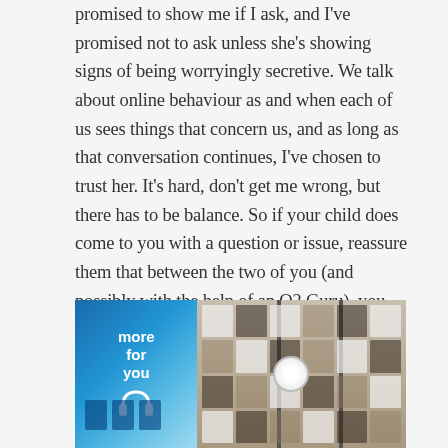promised to show me if I ask, and I've promised not to ask unless she's showing signs of being worryingly secretive. We talk about online behaviour as and when each of us sees things that concern us, and as long as that conversation continues, I've chosen to trust her. It's hard, don't get me wrong, but there has to be balance. So if your child does come to you with a question or issue, reassure them that between the two of you (and possibly with the help of an O2 Guru), you can make their time online productive and safe.
[Figure (photo): Interior of an O2 retail store showing a blue 'more for you' display on the left and product shelves with accessories on the right]